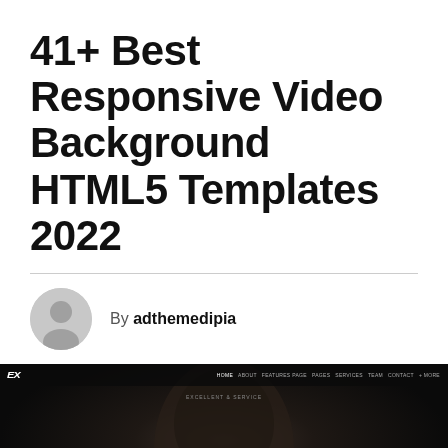41+ Best Responsive Video Background HTML5 Templates 2022
By adthemedipia
[Figure (screenshot): Screenshot of a dark website template called 'THE WALL' with a navigation bar showing an EX logo and menu links, a close-up dark photo of a face, and a scroll-up button in the bottom right corner.]